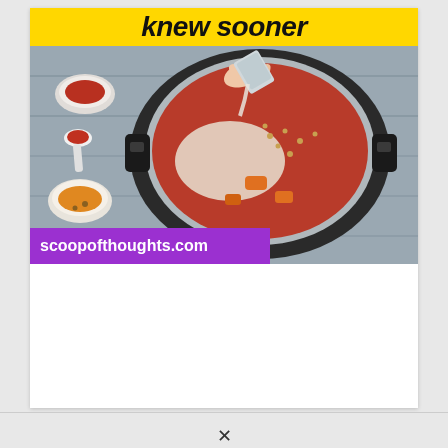[Figure (photo): A blog post card image showing an Instant Pot pressure cooker from above with ingredients being poured in — tomato sauce, lentils, coconut milk, and orange vegetable chunks. Small bowls of spices and a spoon with red sauce are visible beside the pot on a grey wooden surface. A yellow banner at the top reads 'knew sooner' in bold italic text. A purple banner at the bottom reads 'scoopofthoughts.com'.]
scoopofthoughts.com